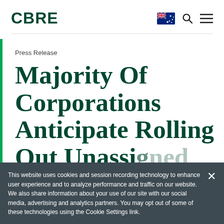CBRE
Press Release
Majority Of Corporations Anticipate Rolling Out Unassigned
This website uses cookies and session recording technology to enhance user experience and to analyze performance and traffic on our website. We also share information about your use of our site with our social media, advertising and analytics partners. You may opt out of some of these technologies using the Cookie Settings link.